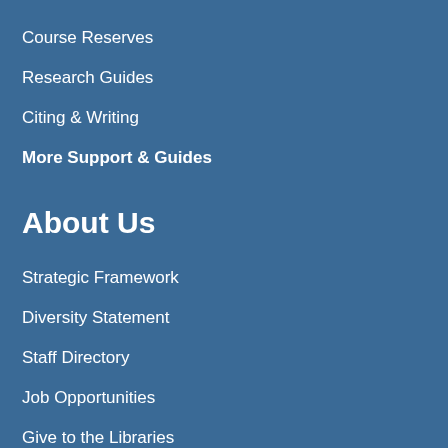Course Reserves
Research Guides
Citing & Writing
More Support & Guides
About Us
Strategic Framework
Diversity Statement
Staff Directory
Job Opportunities
Give to the Libraries
News & Exhibits
Reckoning Initiative
More About Us